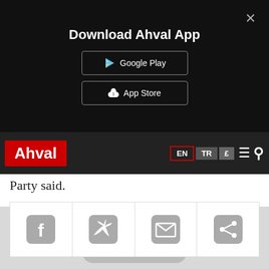Download Ahval App
Google Play
App Store
Ahval EN TR £
Party said.
[Figure (infographic): Social sharing icons row: Facebook, Twitter, Email, Share]
This website uses cookies to ensure you get the best experience on our website
GOT IT!